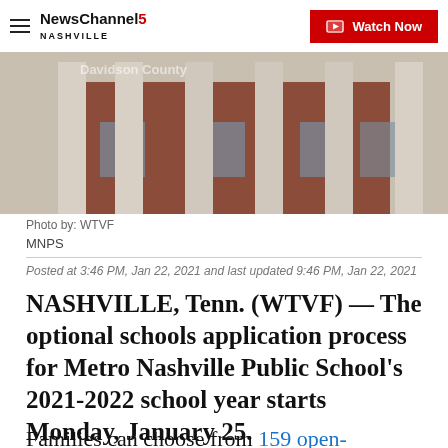NewsChannel 5 Nashville | Watch Now
[Figure (photo): Exterior photo of a brick building with large white columns, likely a school building (Davidson County). Photo credit: WTVF / MNPS.]
Photo by: WTVF
MNPS
Posted at 3:46 PM, Jan 22, 2021 and last updated 9:46 PM, Jan 22, 2021
NASHVILLE, Tenn. (WTVF) — The optional schools application process for Metro Nashville Public School's 2021-2022 school year starts Monday, January 25.
Families can choose from 159 open-enrollment public